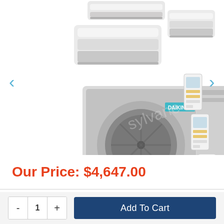[Figure (photo): Daikin multi-zone mini-split air conditioning system showing three indoor wall units at top, a large outdoor condenser unit in the center, and three remote controls on the right. Navigation arrows on left and right sides of the image carousel.]
Our Price: $4,647.00
- 1 + Add To Cart